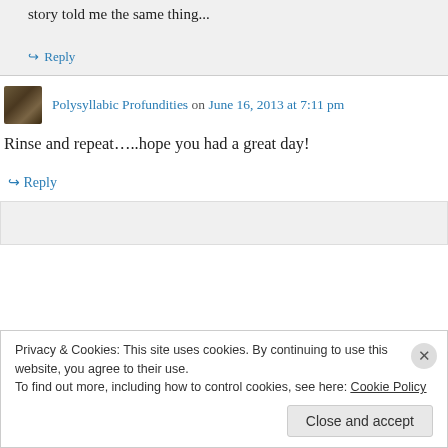story told me the same thing...
↳ Reply
Polysyllabic Profundities on June 16, 2013 at 7:11 pm
Rinse and repeat…..hope you had a great day!
↳ Reply
Privacy & Cookies: This site uses cookies. By continuing to use this website, you agree to their use.
To find out more, including how to control cookies, see here: Cookie Policy
Close and accept